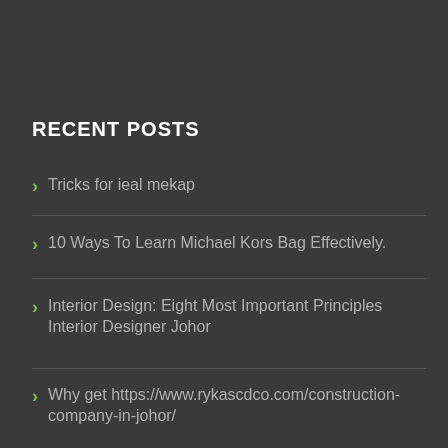RECENT POSTS
Tricks for ieal mekap
10 Ways To Learn Michael Kors Bag Effectively.
Interior Design: Eight Most Important Principles Interior Designer Johor
Why get https://www.rykascdco.com/construction-company-in-johor/